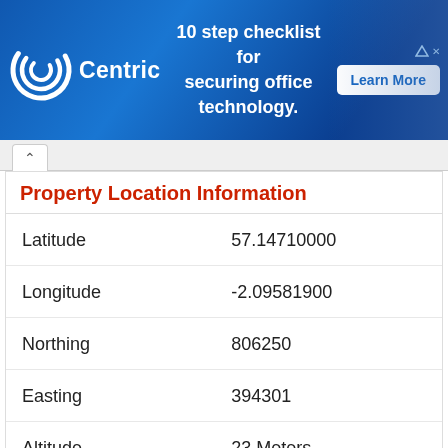[Figure (illustration): Centric brand banner advertisement: 10 step checklist for securing office technology. Learn More button on right side.]
Property Location Information
| Field | Value |
| --- | --- |
| Latitude | 57.14710000 |
| Longitude | -2.09581900 |
| Northing | 806250 |
| Easting | 394301 |
| Altitude | 23 Meters |
| Postcode Area | AB |